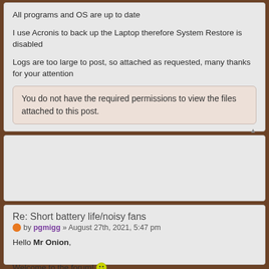All programs and OS are up to date
I use Acronis to back up the Laptop therefore System Restore is disabled
Logs are too large to post, so attached as requested, many thanks for your attention
You do not have the required permissions to view the files attached to this post.
Re: Short battery life/noisy fans
by pgmigg » August 27th, 2021, 5:47 pm
Hello Mr Onion,
Welcome to the forum! 🙂
I am pgmigg and I'll be helping you with any malware problems.